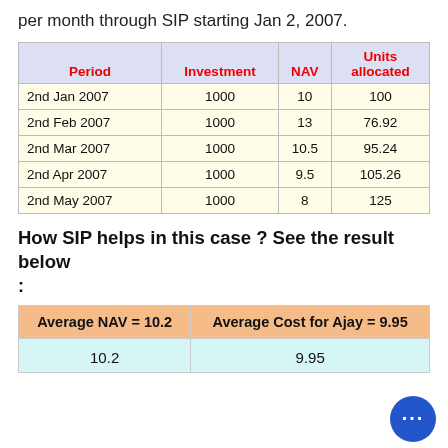per month through SIP starting Jan 2, 2007.
| Period | Investment | NAV | Units allocated |
| --- | --- | --- | --- |
| 2nd Jan 2007 | 1000 | 10 | 100 |
| 2nd Feb 2007 | 1000 | 13 | 76.92 |
| 2nd Mar 2007 | 1000 | 10.5 | 95.24 |
| 2nd Apr 2007 | 1000 | 9.5 | 105.26 |
| 2nd May 2007 | 1000 | 8 | 125 |
How SIP helps in this case ? See the result below :
| Average NAV = 10.2 | Average Cost for Ajay = 9.95 |
| --- | --- |
| 10.2 | 9.95 |